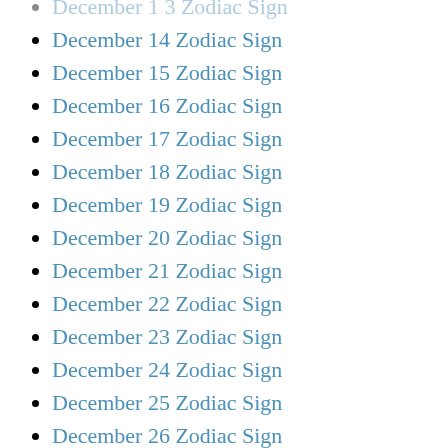December 14 Zodiac Sign
December 15 Zodiac Sign
December 16 Zodiac Sign
December 17 Zodiac Sign
December 18 Zodiac Sign
December 19 Zodiac Sign
December 20 Zodiac Sign
December 21 Zodiac Sign
December 22 Zodiac Sign
December 23 Zodiac Sign
December 24 Zodiac Sign
December 25 Zodiac Sign
December 26 Zodiac Sign
December 27 Zodiac Sign
December 28 Zodiac Sign
December 29 Zodiac Sign
December 30 Zodiac Sign
December 31 Zodiac Sign